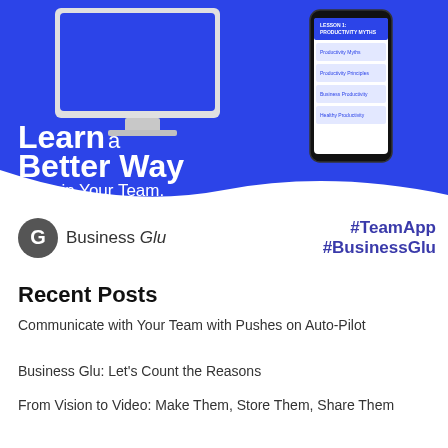[Figure (illustration): Blue banner with a desktop monitor and smartphone showing a learning app interface, with white text: 'Learn a Better Way to Train Your Team.' and Business Glu branding.]
Business Glu
#TeamApp #BusinessGlu
Recent Posts
Communicate with Your Team with Pushes on Auto-Pilot
Business Glu: Let's Count the Reasons
From Vision to Video: Make Them, Store Them, Share Them